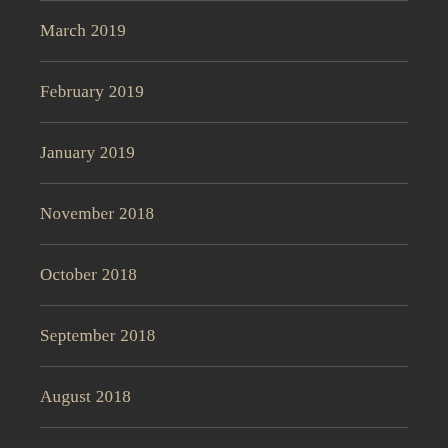March 2019
February 2019
January 2019
November 2018
October 2018
September 2018
August 2018
July 2018